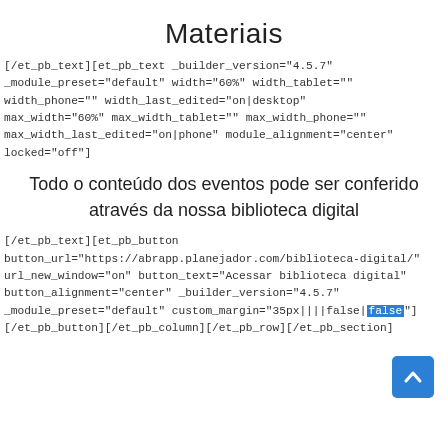Materiais
[/et_pb_text][et_pb_text _builder_version="4.5.7" _module_preset="default" width="60%" width_tablet="" width_phone="" width_last_edited="on|desktop" max_width="60%" max_width_tablet="" max_width_phone="" max_width_last_edited="on|phone" module_alignment="center" locked="off"]
Todo o conteúdo dos eventos pode ser conferido através da nossa biblioteca digital
[/et_pb_text][et_pb_button button_url="https://abrapp.planejador.com/biblioteca-digital/" url_new_window="on" button_text="Acessar biblioteca digital" button_alignment="center" _builder_version="4.5.7" _module_preset="default" custom_margin="35px||||false|false"] [/et_pb_button][/et_pb_column][/et_pb_row][/et_pb_section]